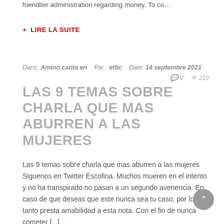friendlier administration regarding money. To co…
+ LIRE LA SUITE
Dans : Amino canta en   Par : ettic   Date: 14 septembre 2021   💬 0   👁 219
LAS 9 TEMAS SOBRE CHARLA QUE MAS ABURREN A LAS MUJERES
Las 9 temas sobre charla que mas aburren a las mujeres Siguenos en Twitter Escofina. Muchos mueren en el intento y no ha transpirado no pasan a un segundo avenencia. En caso de que deseas que este nunca sea tu caso, por lo tanto presta amabilidad a esta nota. Con el fin de nunca cometer [...]...